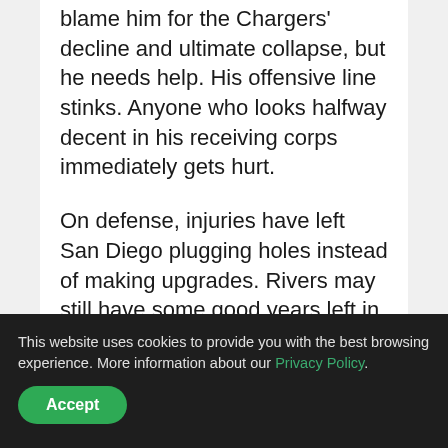blame him for the Chargers' decline and ultimate collapse, but he needs help. His offensive line stinks. Anyone who looks halfway decent in his receiving corps immediately gets hurt.
On defense, injuries have left San Diego plugging holes instead of making upgrades. Rivers may still have some good years left in him, but they're being wasted right now in a semi-rebuilding period for the Chargers.
Is Oakland the worst team in the NFL?
This website uses cookies to provide you with the best browsing experience. More information about our Privacy Policy.
Accept